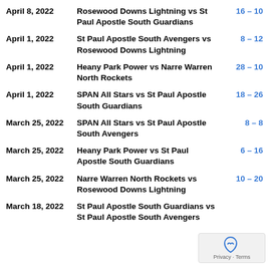April 8, 2022 | Rosewood Downs Lightning vs St Paul Apostle South Guardians | 16 – 10
April 1, 2022 | St Paul Apostle South Avengers vs Rosewood Downs Lightning | 8 – 12
April 1, 2022 | Heany Park Power vs Narre Warren North Rockets | 28 – 10
April 1, 2022 | SPAN All Stars vs St Paul Apostle South Guardians | 18 – 26
March 25, 2022 | SPAN All Stars vs St Paul Apostle South Avengers | 8 – 8
March 25, 2022 | Heany Park Power vs St Paul Apostle South Guardians | 6 – 16
March 25, 2022 | Narre Warren North Rockets vs Rosewood Downs Lightning | 10 – 20
March 18, 2022 | St Paul Apostle South Guardians vs St Paul Apostle South Avengers